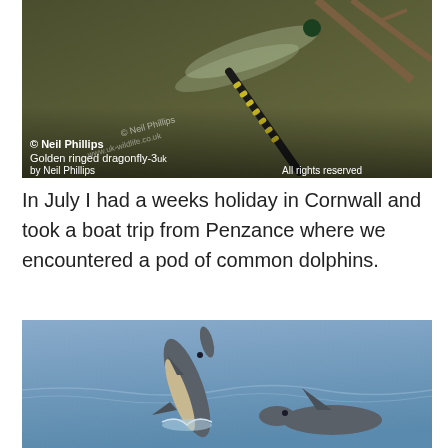[Figure (photo): Close-up photo of a golden-ringed dragonfly perched on a twig against a dark olive-green background. Watermark text: © Neil Phillips, www.uk-wildlife.co.uk. Caption: Golden ringed dragonfly-3 by Neil Phillips. All rights reserved.]
In July I had a weeks holiday in Cornwall and took a boat trip from Penzance where we encountered a pod of common dolphins.
[Figure (photo): Photo of common dolphins surfacing from the sea near Penzance, Cornwall. Two dolphins visible, one leaping out of water.]